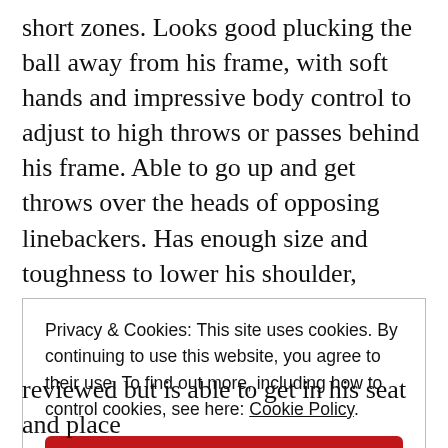short zones. Looks good plucking the ball away from his frame, with soft hands and impressive body control to adjust to high throws or passes behind his frame. Able to go up and get throws over the heads of opposing linebackers. Has enough size and toughness to lower his shoulder, pinball off of opposing defensive backs and fight for additional yardage after initial contact to
Privacy & Cookies: This site uses cookies. By continuing to use this website, you agree to their use. To find out more, including how to control cookies, see here: Cookie Policy
Close and accept
reviewed but is able to get in his seat and place